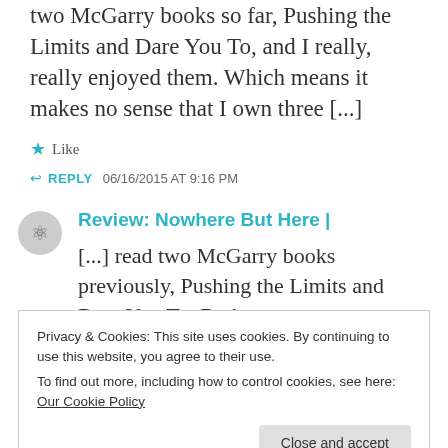two McGarry books so far, Pushing the Limits and Dare You To, and I really, really enjoyed them. Which means it makes no sense that I own three [...]
★ Like
↩ REPLY   06/16/2015 AT 9:16 PM
Review: Nowhere But Here |
[...] read two McGarry books previously, Pushing the Limits and Dare You To. Both
Privacy & Cookies: This site uses cookies. By continuing to use this website, you agree to their use.
To find out more, including how to control cookies, see here: Our Cookie Policy